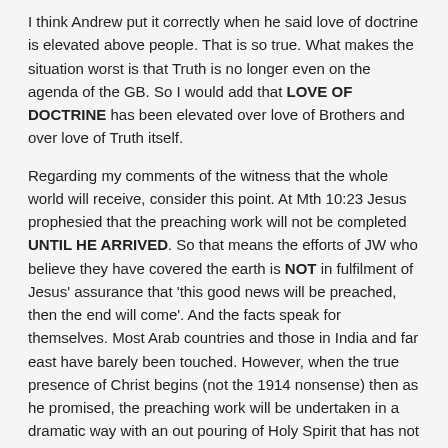I think Andrew put it correctly when he said love of doctrine is elevated above people. That is so true. What makes the situation worst is that Truth is no longer even on the agenda of the GB. So I would add that LOVE OF DOCTRINE has been elevated over love of Brothers and over love of Truth itself.
Regarding my comments of the witness that the whole world will receive, consider this point. At Mth 10:23 Jesus prophesied that the preaching work will not be completed UNTIL HE ARRIVED. So that means the efforts of JW who believe they have covered the earth is NOT in fulfilment of Jesus' assurance that 'this good news will be preached, then the end will come'. And the facts speak for themselves. Most Arab countries and those in India and far east have barely been touched. However, when the true presence of Christ begins (not the 1914 nonsense) then as he promised, the preaching work will be undertaken in a dramatic way with an out pouring of Holy Spirit that has not been witnessed since Pentecost. This preaching, coupled with events that will be taking place at the time will ensure that NOBODY is left out and ALL will have to take a stand. This has been very brief, because I have to rush off, but think about it….
(Quote)